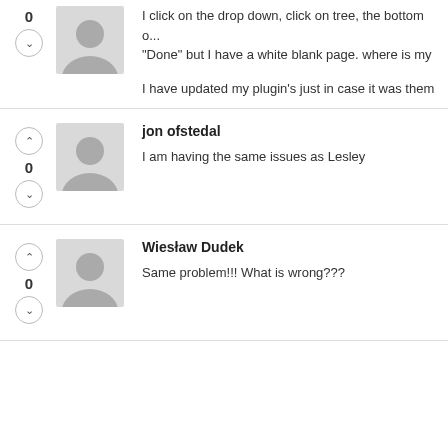I click on the drop down, click on tree, the bottom o... "Done" but I have a white blank page. where is my

I have updated my plugin's just in case it was them
jon ofstedal

I am having the same issues as Lesley
Wiesław Dudek

Same problem!!! What is wrong???